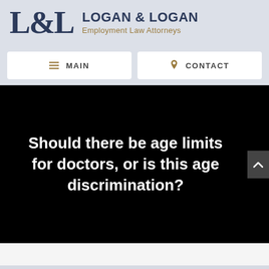[Figure (logo): Logan & Logan Employment Law Attorneys logo with L&L monogram in serif font and firm name in navy and gold]
≡ MAIN
📍 CONTACT
Should there be age limits for doctors, or is this age discrimination?